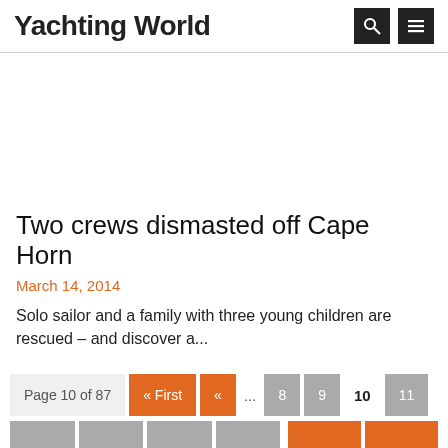Yachting World
Two crews dismasted off Cape Horn
March 14, 2014
Solo sailor and a family with three young children are rescued – and discover a...
Page 10 of 87  « First  «  ...  8  9  10  11